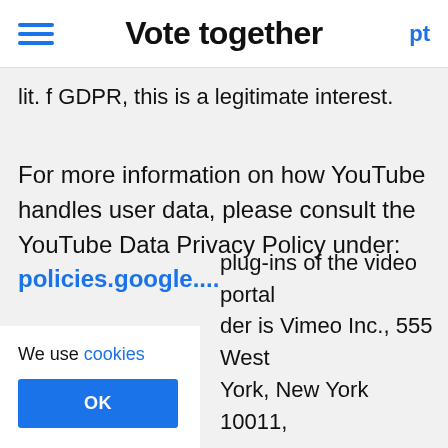Vote together  pt
lit. f GDPR, this is a legitimate interest.
For more information on how YouTube handles user data, please consult the YouTube Data Privacy Policy under: policies.google....
We use cookies
OK
plug-ins of the video portal der is Vimeo Inc., 555 West York, New York 10011,
USA.